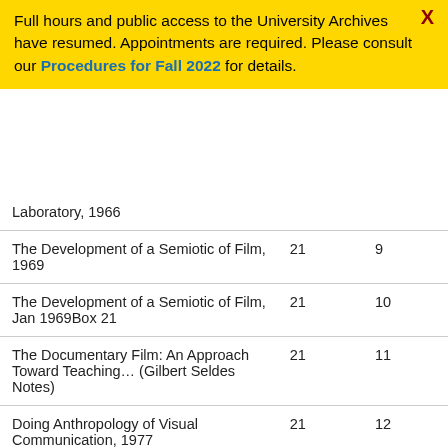Full hours and public access to the University Archives have resumed. Appointments are required. Please consult our Procedures for Fall 2022 for details.
|  |  |  |
| --- | --- | --- |
| Laboratory, 1966 |  |  |
| The Development of a Semiotic of Film, 1969 | 21 | 9 |
| The Development of a Semiotic of Film, Jan 1969Box 21 | 21 | 10 |
| The Documentary Film: An Approach Toward Teaching… (Gilbert Seldes Notes) | 21 | 11 |
| Doing Anthropology of Visual Communication, 1977 | 21 | 12 |
| Editor's Introduction (v.1, no. 1 | 21 | 13 |